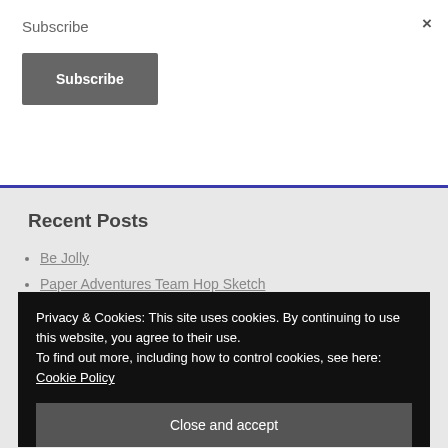×
Subscribe
Subscribe
Recent Posts
Be Jolly
Paper Adventures Team Hop Sketch
Privacy & Cookies: This site uses cookies. By continuing to use this website, you agree to their use.
To find out more, including how to control cookies, see here: Cookie Policy
Close and accept